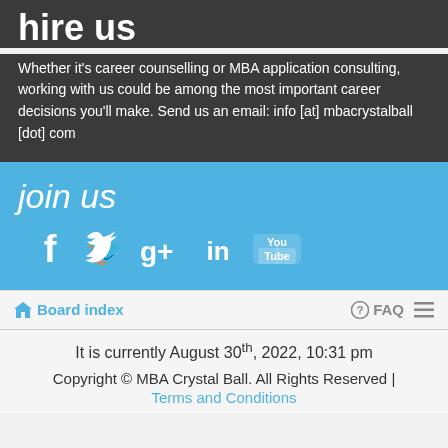hire us
Whether it's career counselling or MBA application consulting, working with us could be among the most important career decisions you'll make. Send us an email: info [at] mbacrystalball [dot] com
join us
[Figure (infographic): Social media icons: Facebook, Twitter, Google+, LinkedIn, YouTube displayed in white on blue background]
Board index   FAQ
It is currently August 30th, 2022, 10:31 pm
Copyright © MBA Crystal Ball. All Rights Reserved | Terms and Conditions